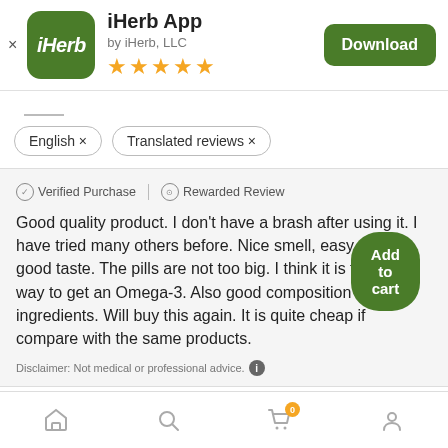[Figure (screenshot): iHerb app icon: green rounded square with white italic 'iHerb' text]
iHerb App
by iHerb, LLC
[Figure (other): 5 gold star rating]
Download
English ×    Translated reviews ×
✓ Verified Purchase  |  ⊙ Rewarded Review
Good quality product. I don't have a brash after using it. I have tried many others before. Nice smell, easy to take, good taste. The pills are not too big. I think it is the best way to get an Omega-3. Also good composition between ingredients. Will buy this again. It is quite cheap if compare with the same products.
Disclaimer: Not medical or professional advice.
Add to cart